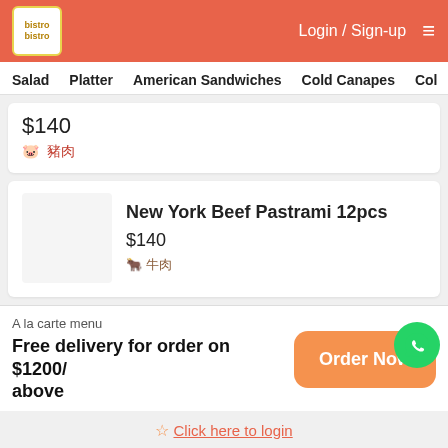Login / Sign-up
Salad   Platter   American Sandwiches   Cold Canapes   Col...
$140
🐷 豬肉
New York Beef Pastrami 12pcs
$140
🐮 牛肉
A la carte menu
Free delivery for order on $1200/ above
Order Now
Click here to login